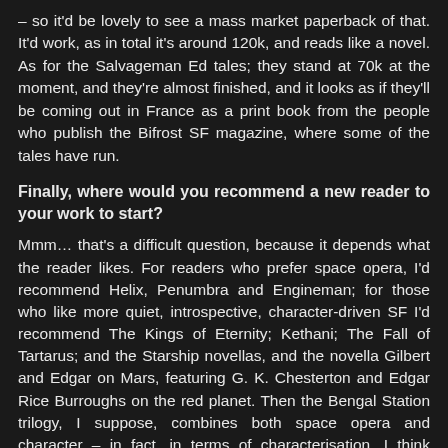– so it'd be lovely to see a mass market paperback of that. It'd work, as in total it's around 120k, and reads like a novel. As for the Salvageman Ed tales; they stand at 70k at the moment, and they're almost finished, and it looks as if they'll be coming out in France as a print book from the people who publish the Bifrost SF magazine, where some of the tales have run.
Finally, where would you recommend a new reader to your work to start?
Mmm… that's a difficult question, because it depends what the reader likes. For readers who prefer space opera, I'd recommend Helix, Penumbra and Engineman; for those who like more quiet, introspective, character-driven SF I'd recommend The Kings of Eternity; Kethani; The Fall of Tartarus; and the Starship novellas, and the novella Gilbert and Edgar on Mars, featuring G. K. Chesterton and Edgar Rice Burroughs on the red planet. Then the Bengal Station trilogy, I suppose, combines both space opera and character – in fact, in terms of characterisation, I think Vaughan in those books is my most successful creation, in that I